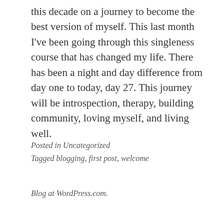this decade on a journey to become the best version of myself. This last month I've been going through this singleness course that has changed my life. There has been a night and day difference from day one to today, day 27. This journey will be introspection, therapy, building community, loving myself, and living well.
Posted in Uncategorized
Tagged blogging, first post, welcome
Blog at WordPress.com.